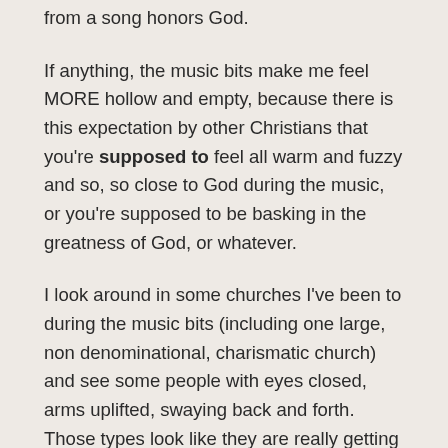from a song honors God.
If anything, the music bits make me feel MORE hollow and empty, because there is this expectation by other Christians that you're supposed to feel all warm and fuzzy and so, so close to God during the music, or you're supposed to be basking in the greatness of God, or whatever.
I look around in some churches I've been to during the music bits (including one large, non denominational, charismatic church) and see some people with eyes closed, arms uplifted, swaying back and forth. Those types look like they are really getting something from the music.